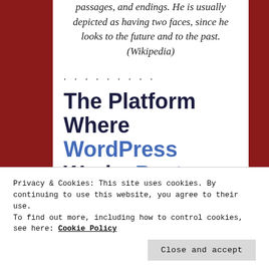passages, and endings. He is usually depicted as having two faces, since he looks to the future and to the past. (Wikipedia)
.........
The Platform Where WordPress Works Best
Privacy & Cookies: This site uses cookies. By continuing to use this website, you agree to their use. To find out more, including how to control cookies, see here: Cookie Policy
Close and accept